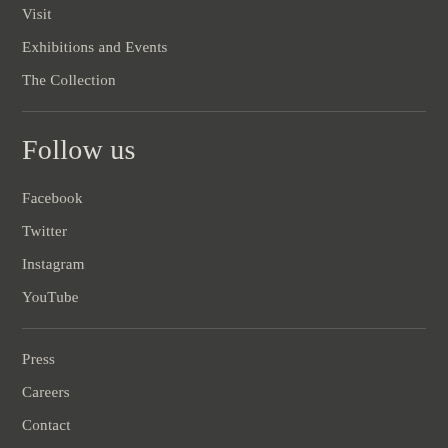Visit
Exhibitions and Events
The Collection
Follow us
Facebook
Twitter
Instagram
YouTube
Press
Careers
Contact
Venue Rental
Image Licensing